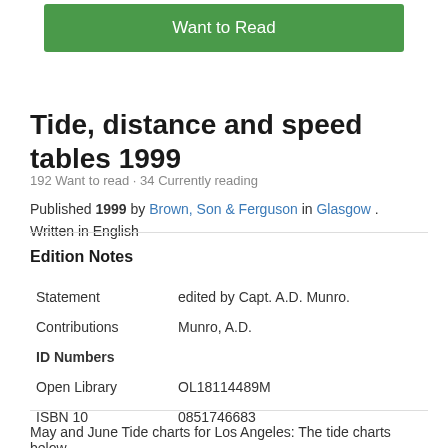[Figure (other): Green 'Want to Read' button]
Tide, distance and speed tables 1999
192 Want to read · 34 Currently reading
Published 1999 by Brown, Son & Ferguson in Glasgow . Written in English
Edition Notes
| Statement | edited by Capt. A.D. Munro. |
| Contributions | Munro, A.D. |
| ID Numbers |  |
| Open Library | OL18114489M |
| ISBN 10 | 0851746683 |
May and June Tide charts for Los Angeles: The tide charts below